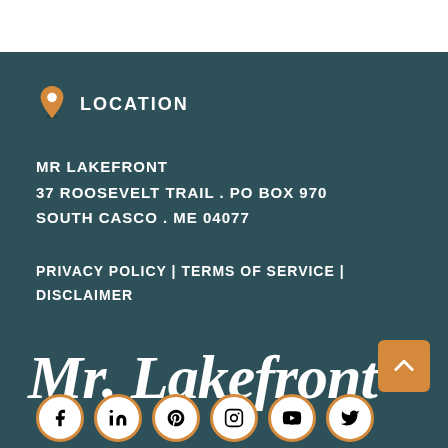[Figure (logo): Mr. Lakefront website footer section with dark teal background. Contains location icon, address, legal links, brand name, back-to-top button, and social media icons.]
LOCATION
MR LAKEFRONT
37 ROOSEVELT TRAIL . PO BOX 970
SOUTH CASCO . ME 04077
PRIVACY POLICY | TERMS OF SERVICE | DISCLAIMER
Mr. Lakefront